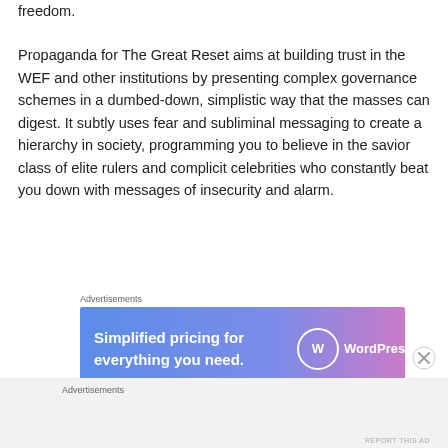freedom.
Propaganda for The Great Reset aims at building trust in the WEF and other institutions by presenting complex governance schemes in a dumbed-down, simplistic way that the masses can digest. It subtly uses fear and subliminal messaging to create a hierarchy in society, programming you to believe in the savior class of elite rulers and complicit celebrities who constantly beat you down with messages of insecurity and alarm.
[Figure (screenshot): WordPress.com advertisement banner: 'Simplified pricing for everything you need.' with WordPress.com logo on gradient blue-to-pink background. Labeled 'Advertisements' above.]
REPORT THIS AD
Advertisements